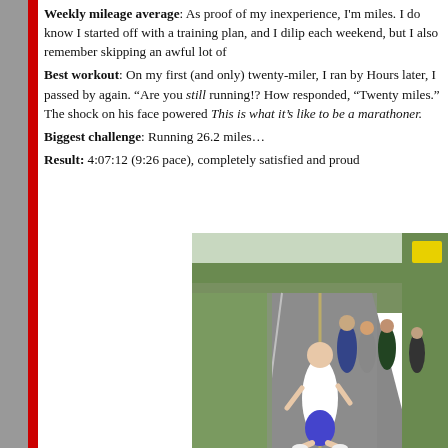Weekly mileage average: As proof of my inexperience, I'm miles. I do know I started off with a training plan, and I dili each weekend, but I also remember skipping an awful lot of
Best workout: On my first (and only) twenty-miler, I ran by Hours later, I passed by again. “Are you still running!? How responded, “Twenty miles.” The shock on his face powered This is what it’s like to be a marathoner.
Biggest challenge: Running 26.2 miles…
Result: 4:07:12 (9:26 pace), completely satisfied and proud
[Figure (photo): Runners on a road during a marathon race. A woman in a white shirt and blue shorts is prominently in the foreground running on a paved road with yellow center line markings. Several other runners are visible behind her. There is a guardrail and green vegetation on the side of the road.]